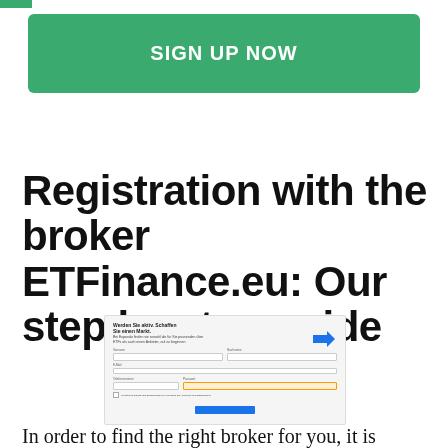[Figure (other): Green 'SIGN UP NOW' button, large rounded rectangle with white bold text]
Registration with the broker ETFinance.eu: Our step by step guide
[Figure (screenshot): Screenshot of ETFinance.eu registration form showing form fields for personal details, checkboxes, and a blue submit button]
In order to find the right broker for you, it is